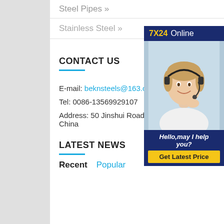Steel Pipes »
Stainless Steel »
CONTACT US
E-mail: beknsteels@163.com
Tel: 0086-13569929107
Address: 50 Jinshui Road, Henan, China
[Figure (illustration): Customer service representative with headset, 7X24 Online banner, Hello,may I help you?, Get Latest Price button]
LATEST NEWS
Recent   Popular